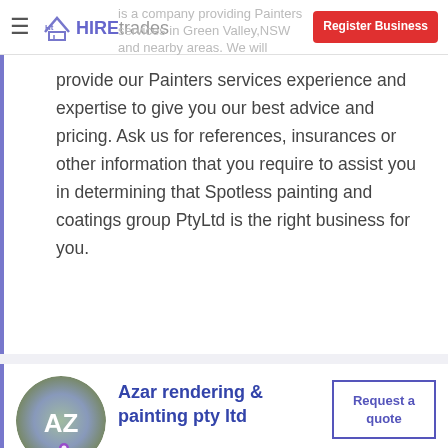≡  Ht HIREtrades  |  Register Business
is a company providing Painters services in Green Valley, NSW and nearby areas. We will provide our Painters services experience and expertise to give you our best advice and pricing. Ask us for references, insurances or other information that you require to assist you in determining that Spotless painting and coatings group PtyLtd is the right business for you.
Azar rendering & painting pty ltd
Liverpool, NSW (10 km from Villawood)
Request a quote
Azar rendering & painting pty ltd services can assist with your needs. Providing Painters